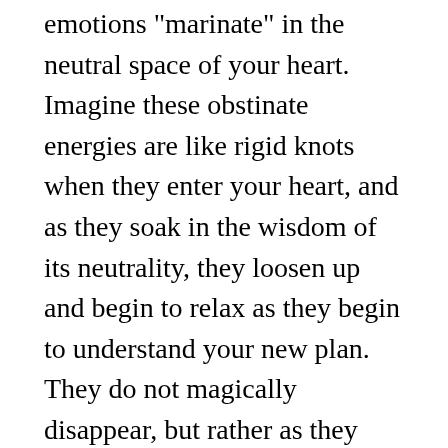emotions "marinate" in the neutral space of your heart. Imagine these obstinate energies are like rigid knots when they enter your heart, and as they soak in the wisdom of its neutrality, they loosen up and begin to relax as they begin to understand your new plan. They do not magically disappear, but rather as they relax they choose to realign to the energetic grid you are consciously engineering.
What is stubborn and unwanted within you is not something you want to evict like an unwanted tenant or exorcise like a demon; rather it is a part of you that has served you in the past, and once aligned to your new